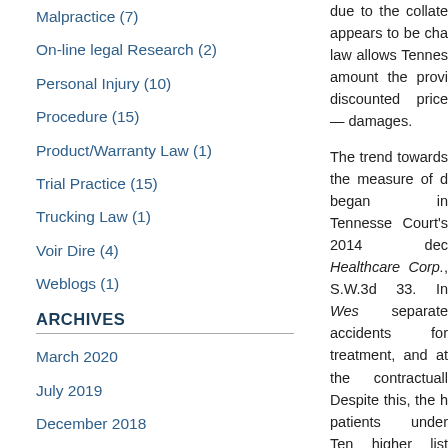Malpractice (7)
On-line legal Research (2)
Personal Injury (10)
Procedure (15)
Product/Warranty Law (1)
Trial Practice (15)
Trucking Law (1)
Voir Dire (4)
Weblogs (1)
ARCHIVES
March 2020
July 2019
December 2018
due to the collate appears to be cha law allows Tennes amount the provi discounted price— damages.

The trend towards the measure of d began in Tennesse Court's 2014 dec Healthcare Corp., S.W.3d 33. In Wes separate accidents for treatment, and at the contractuall Despite this, the h patients under Ten higher list price accidents were ca